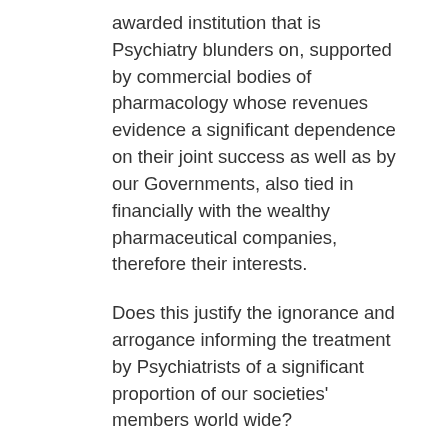awarded institution that is Psychiatry blunders on, supported by commercial bodies of pharmacology whose revenues evidence a significant dependence on their joint success as well as by our Governments, also tied in financially with the wealthy pharmaceutical companies, therefore their interests.
Does this justify the ignorance and arrogance informing the treatment by Psychiatrists of a significant proportion of our societies' members world wide?
Or render them non-responsible for the huge waste of lives and economic potential achieved by their grasp and legally enforceable restraint and treatment of the people involved?